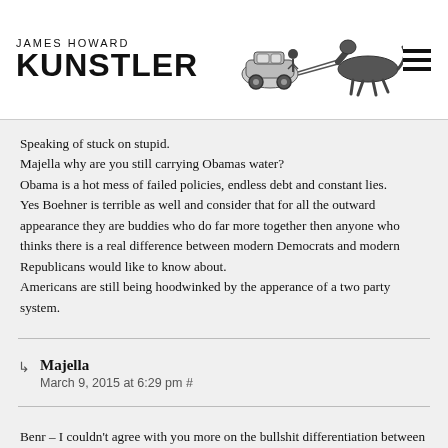JAMES HOWARD KUNSTLER
Speaking of stuck on stupid.
Majella why are you still carrying Obamas water?
Obama is a hot mess of failed policies, endless debt and constant lies.
Yes Boehner is terrible as well and consider that for all the outward appearance they are buddies who do far more together then anyone who thinks there is a real difference between modern Democrats and modern Republicans would like to know about.
Americans are still being hoodwinked by the apperance of a two party system.
Majella
March 9, 2015 at 6:29 pm #
Benr – I couldn't agree with you more on the bullshit differentiation between Dems & Reps over time, but surely, at THIS point in time, the loony-tunes fringe element running Congress –